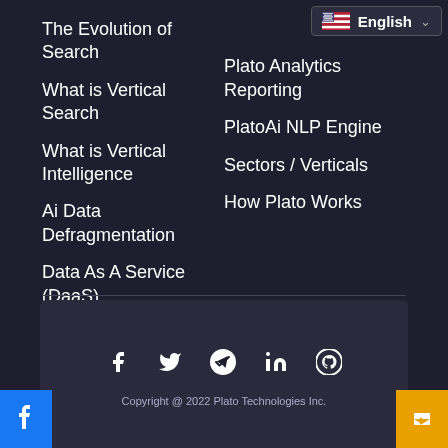The Evolution of Search
What is Vertical Search
What is Vertical Intelligence
Ai Data Defragmentation
Data As A Service (DaaS)
Plato Analytics Reporting
PlatoAi NLP Engine
Sectors / Verticals
How Plato Works
Governance
Register
Live Chat
Contact Us
Social
Copyright @ 2022 Plato Technologies Inc.